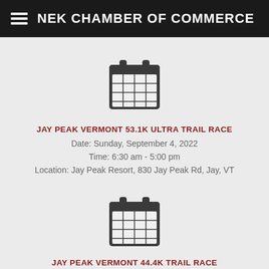NEK CHAMBER OF COMMERCE
[Figure (illustration): Calendar icon - dark gray calendar graphic]
JAY PEAK VERMONT 53.1K ULTRA TRAIL RACE
Date: Sunday, September 4, 2022
Time: 6:30 am - 5:00 pm
Location: Jay Peak Resort, 830 Jay Peak Rd, Jay, VT
[Figure (illustration): Calendar icon - dark gray calendar graphic]
JAY PEAK VERMONT 44.4K TRAIL RACE